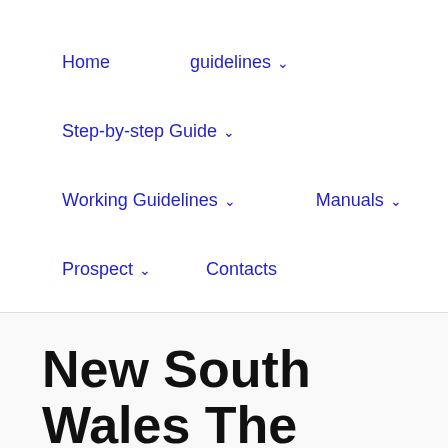Home   guidelines ∨   Step-by-step Guide ∨   Working Guidelines ∨   Manuals ∨   Prospect ∨   Contacts
New South Wales The